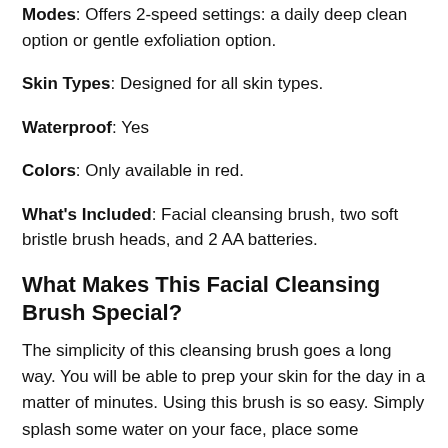Modes: Offers 2-speed settings: a daily deep clean option or gentle exfoliation option.
Skin Types: Designed for all skin types.
Waterproof: Yes
Colors: Only available in red.
What's Included: Facial cleansing brush, two soft bristle brush heads, and 2 AA batteries.
What Makes This Facial Cleansing Brush Special?
The simplicity of this cleansing brush goes a long way. You will be able to prep your skin for the day in a matter of minutes. Using this brush is so easy. Simply splash some water on your face, place some cleanser on the brush head, and select your speed. Massage your skin for about a minute before rinsing both your face and brush.